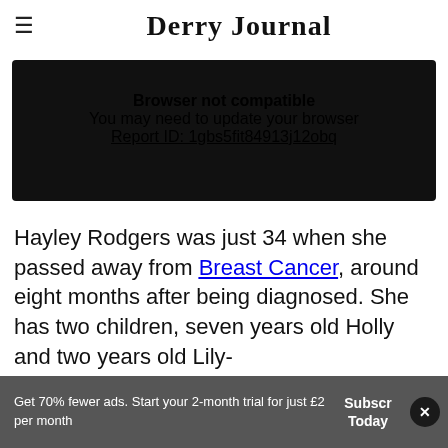Derry Journal
[Figure (screenshot): Browser not compatible error box with dark background. Text: 'Browser not compatible', 'You may need to update your browser', 'Report ID: 1gbs5fit84913j12obq']
Hayley Rodgers was just 34 when she passed away from Breast Cancer, around eight months after being diagnosed. She has two children, seven years old Holly and two years old Lily-
Get 70% fewer ads. Start your 2-month trial for just £2 per month
Subscribe Today